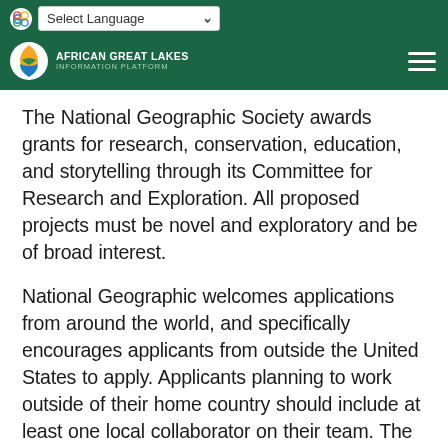Select Language | African Great Lakes Information Platform
The National Geographic Society awards grants for research, conservation, education, and storytelling through its Committee for Research and Exploration. All proposed projects must be novel and exploratory and be of broad interest.
National Geographic welcomes applications from around the world, and specifically encourages applicants from outside the United States to apply. Applicants planning to work outside of their home country should include at least one local collaborator on their team. The Committee will not